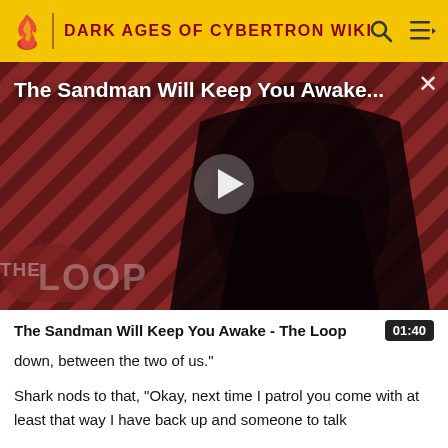DARK AGES OF CYBERTRON WIKI
[Figure (screenshot): Video thumbnail for 'The Sandman Will Keep You Awake - The Loop' featuring a dark figure in a black cape against a red and black diagonal stripe background, with a large play button overlay and 'THE LOOP' watermark in the lower left corner. Title text and close button visible.]
The Sandman Will Keep You Awake - The Loop
down, between the two of us."
Shark nods to that, "Okay, next time I patrol you come with at least that way I have back up and someone to talk